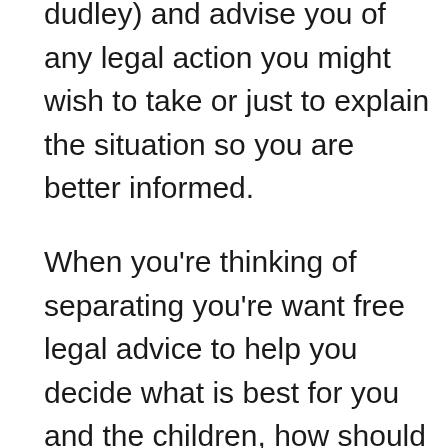dudley) and advise you of any legal action you might wish to take or just to explain the situation so you are better informed.
When you're thinking of separating you're want free legal advice to help you decide what is best for you and the children, how should you split the family home, how should